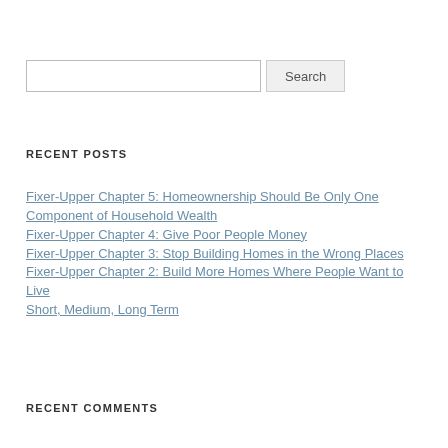RECENT POSTS
Fixer-Upper Chapter 5: Homeownership Should Be Only One Component of Household Wealth
Fixer-Upper Chapter 4: Give Poor People Money
Fixer-Upper Chapter 3: Stop Building Homes in the Wrong Places
Fixer-Upper Chapter 2: Build More Homes Where People Want to Live
Short, Medium, Long Term
RECENT COMMENTS